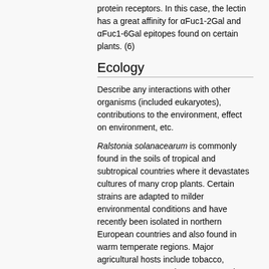protein receptors. In this case, the lectin has a great affinity for αFuc1-2Gal and αFuc1-6Gal epitopes found on certain plants. (6)
Ecology
Describe any interactions with other organisms (included eukaryotes), contributions to the environment, effect on environment, etc.
Ralstonia solanacearum is commonly found in the soils of tropical and subtropical countries where it devastates cultures of many crop plants. Certain strains are adapted to milder environmental conditions and have recently been isolated in northern European countries and also found in warm temperate regions. Major agricultural hosts include tobacco, tomato, potato, eggplant, pepper and banana trees.(1) This bacterium can also be free-living as a saprophyte in water or in the soil in the absence of host plants.(8)
R. solanacearum has the ability to survive for long periods of time in a nutrient-depleted bulk soil environment. But it can also be a host...